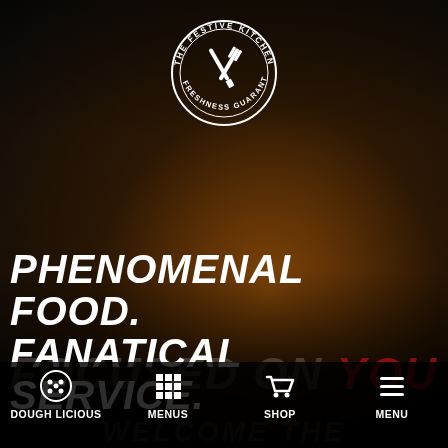[Figure (logo): The Festive Kitchen circular logo with crossed knife and fork, text reads 'THE FESTIVE KITCHEN' and 'FRESHNESS GUARANTEED']
PHENOMENAL FOOD. FANATICAL SERVICE.
FOCUSED ON YOU
[Figure (infographic): Bottom navigation bar with four items: DOUGH LICIOUS (cookie icon), MENUS (grid icon), SHOP (cart icon), MENU (hamburger icon). Background shows 'WELCOME THE' text faintly.]